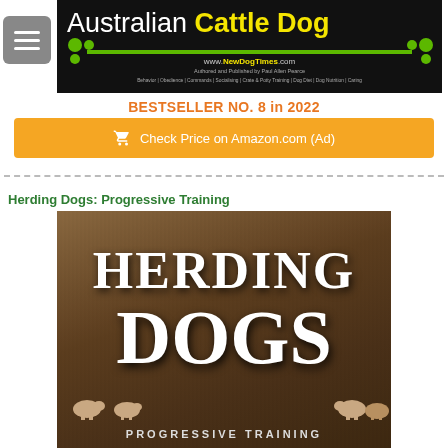[Figure (screenshot): Australian Cattle Dog website banner header with black background, yellow and white text reading 'Australian Cattle Dog', green divider line, green dot decorations, URL www.NewDogTimes.com in yellow, and category links at bottom]
BESTSELLER NO. 8 in 2022
Check Price on Amazon.com (Ad)
Herding Dogs: Progressive Training
[Figure (photo): Book cover for 'Herding Dogs: Progressive Training' showing large white serif text 'HERDING DOGS' over a brown/earthy landscape background with sheep silhouettes at the bottom and 'PROGRESSIVE TRAINING' subtitle]